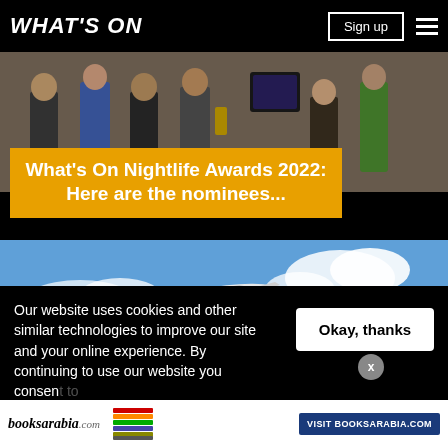WHAT'S ON
[Figure (photo): Group photo of people at an awards ceremony, some holding trophies]
What's On Nightlife Awards 2022: Here are the nominees...
[Figure (photo): Airplane viewed from below against a blue cloudy sky]
Our website uses cookies and other similar technologies to improve our site and your online experience. By continuing to use our website you consent to our privacy policy.
Okay, thanks
[Figure (logo): booksarabia.com advertisement banner with book stack image and VISIT BOOKSARABIA.COM button]